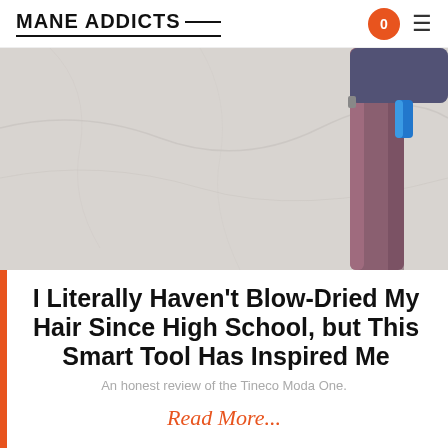MANE ADDICTS
[Figure (photo): Close-up photo of a blow dryer (Tineco Moda One) with a rose/mauve metallic body and blue accent, photographed against a white marble background.]
I Literally Haven't Blow-Dried My Hair Since High School, but This Smart Tool Has Inspired Me
An honest review of the Tineco Moda One.
Read More...